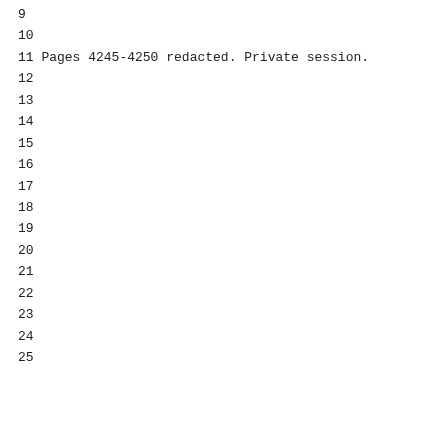9
10
11 Pages 4245-4250 redacted. Private session.
12
13
14
15
16
17
18
19
20
21
22
23
24
25